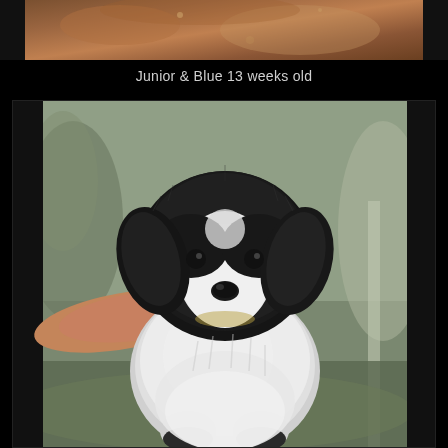[Figure (photo): Top portion of a photo showing dogs or puppies, partially visible, brownish/warm tones, appears to be cropped at the bottom of a previous image]
Junior & Blue 13 weeks old
[Figure (photo): A black and white fluffy puppy (likely a Border Collie or similar breed) being held up by a person's hand. The puppy has dark fur on top of its head and white fur on its face and body. Blurred outdoor background with trees.]